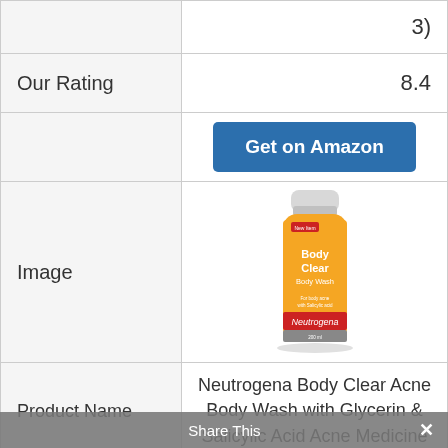|  | 3) |
| Our Rating | 8.4 |
|  | Get on Amazon |
| Image | [Neutrogena Body Clear Body Wash bottle image] |
| Product Name | Neutrogena Body Clear Acne Body Wash with Glycerin & Salicylic Acid Acne Medicine |
Share This